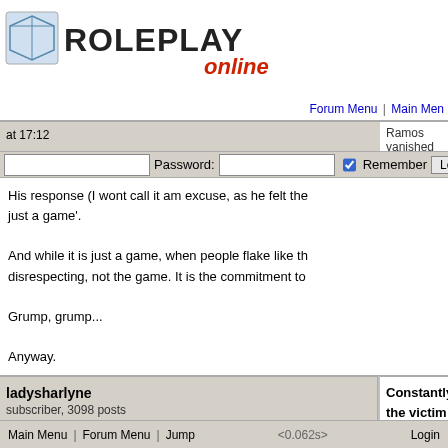Welcome to Community Chat  Jump | FAQs | Help
Login to participate | You may still peruse RPoL
Forum Menu | Main Menu
at 17:12  Password: [input] [checkbox] Remember  Login
Ramos vanished on us. We found out later he had c...
His response (I wont call it am excuse, as he felt the... just a game'.

And while it is just a game, when people flake like th... disrespecting, not the game. It is the commitment to...

Grump, grump...

Anyway.
ladysharlyne
subscriber, 3098 posts
Member before Oct 2005
THE GLASS IS HALF FULL
Sat 29 May 2021
at 22:25
Constantly the victim lol
Age-old problem here, there, everywhere and one o... but delete, delete, delete.  I mean if someone leaves... to not only you but all the players like you said.  If a... coming back that is fine.  It is the flakes that join, do... when players are in a game they should at least be... let my players know it is my illness that takes me aw... back.  This is caring and common courtesy. Is that s... Piestar.

Before it is said, I DO know that there are cases tha...
Main Menu | Forum Menu | Jump    <0.062s>    Login